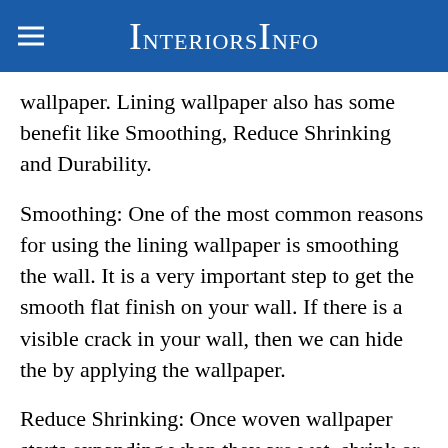InteriorsInfo
wallpaper. Lining wallpaper also has some benefit like Smoothing, Reduce Shrinking and Durability.
Smoothing: One of the most common reasons for using the lining wallpaper is smoothing the wall. It is a very important step to get the smooth flat finish on your wall. If there is a visible crack in your wall, then we can hide the by applying the wallpaper.
Reduce Shrinking: Once woven wallpaper starts expanding when they are wet, shrink or dry. This result gaps in between wallpapers and sheet, even though we take care for not to happen this while laying the paper. While using the lining wallpaper